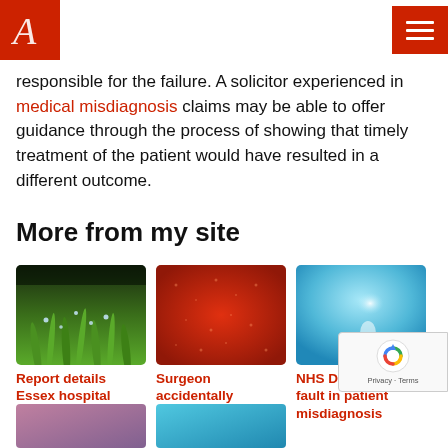Aleman Associates logo and menu button
responsible for the failure. A solicitor experienced in medical misdiagnosis claims may be able to offer guidance through the process of showing that timely treatment of the patient would have resulted in a different outcome.
More from my site
[Figure (photo): Green grass with water droplets, thumbnail for article about Essex hospital]
Report details Essex hospital 'never events'
[Figure (photo): Red textured surface thumbnail for surgeon article]
Surgeon accidentally removes man's testicle
[Figure (photo): Blue blurred background thumbnail for NHS Direct article]
NHS Direct admits fault in patient misdiagnosis